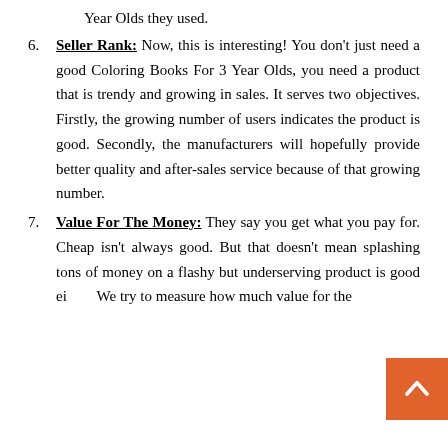Year Olds they used.
6. Seller Rank: Now, this is interesting! You don't just need a good Coloring Books For 3 Year Olds, you need a product that is trendy and growing in sales. It serves two objectives. Firstly, the growing number of users indicates the product is good. Secondly, the manufacturers will hopefully provide better quality and after-sales service because of that growing number.
7. Value For The Money: They say you get what you pay for. Cheap isn't always good. But that doesn't mean splashing tons of money on a flashy but underserving product is good either. We try to measure how much value for the